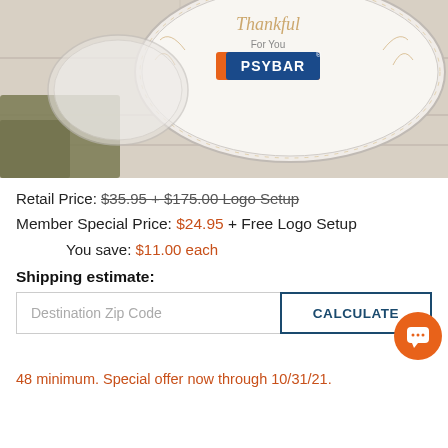[Figure (photo): Product photo of a white tin lid with 'Thankful For You' text and PSYBAR logo in orange/blue, placed on a wood surface with a green cloth]
Retail Price: $35.95 + $175.00 Logo Setup
Member Special Price: $24.95 + Free Logo Setup
You save: $11.00 each
Shipping estimate:
Destination Zip Code   CALCULATE
48 minimum. Special offer now through 10/31/21.